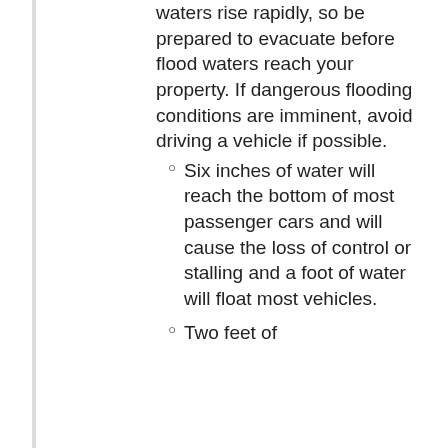waters rise rapidly, so be prepared to evacuate before flood waters reach your property. If dangerous flooding conditions are imminent, avoid driving a vehicle if possible.
Six inches of water will reach the bottom of most passenger cars and will cause the loss of control or stalling and a foot of water will float most vehicles.
Two feet of